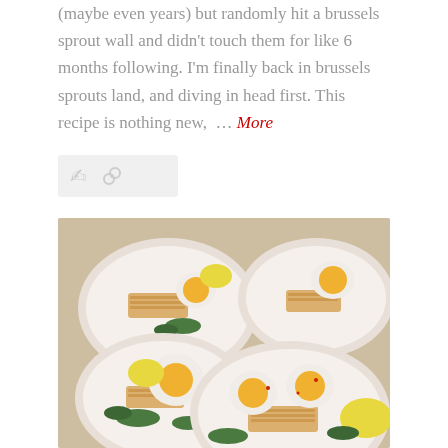(maybe even years) but randomly hit a brussels sprout wall and didn't touch them for like 6 months following. I'm finally back in brussels sprouts land, and diving in head first. This recipe is nothing new, … More
[Figure (other): UI icon bar with comment bubble and link icons on light gray background]
[Figure (photo): Four white ceramic bowls filled with noodles, soft-boiled eggs cut in half showing orange yolks, fresh herbs (parsley), lemon wedges, and red pepper flakes on a granite countertop]